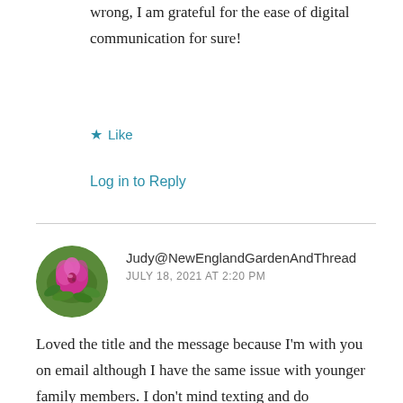wrong, I am grateful for the ease of digital communication for sure!
★ Like
Log in to Reply
Judy@NewEnglandGardenAndThread
JULY 18, 2021 AT 2:20 PM
Loved the title and the message because I'm with you on email although I have the same issue with younger family members. I don't mind texting and do frequently, but I can't tell you how many times I've sent a message before I was finished, hit the / for the . or just hit the wrong keys with my old thumbs that were trainer to hit